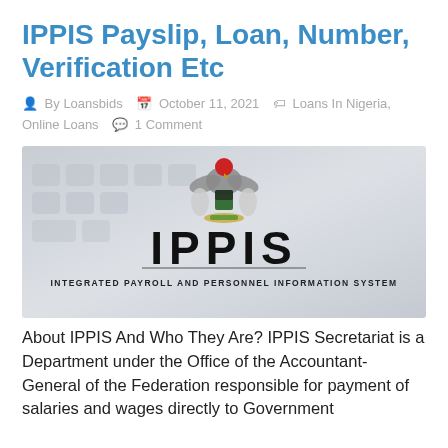IPPIS Payslip, Loan, Number, Verification Etc
By Loansbids   October 11, 2021   Loans In Nigeria, Online Loans   1 Comment
[Figure (logo): IPPIS logo with Nigerian coat of arms eagle crest, text IPPIS in large bold letters and 'Integrated Payroll and Personnel Information System' below, on a blurred keyboard background]
About IPPIS And Who They Are? IPPIS Secretariat is a Department under the Office of the Accountant-General of the Federation responsible for payment of salaries and wages directly to Government